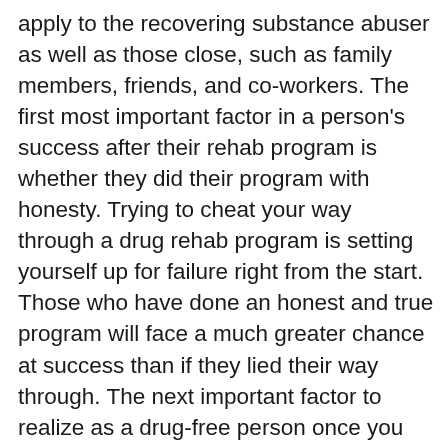apply to the recovering substance abuser as well as those close, such as family members, friends, and co-workers. The first most important factor in a person's success after their rehab program is whether they did their program with honesty. Trying to cheat your way through a drug rehab program is setting yourself up for failure right from the start. Those who have done an honest and true program will face a much greater chance at success than if they lied their way through. The next important factor to realize as a drug-free person once you leave your drug or alcohol treatment program is that YOU are the one that changed, you are the person that did the searching and looking and realizing things about yourself. Mom, Dad, Husband, Boss, girl-friend none of these people know exactly what you have done. This causes them to question; people are naturally curious. Their fears and insecurities have not been addressed for them. You need to understand this